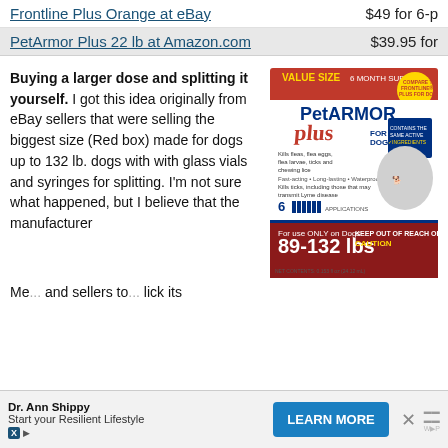Frontline Plus Orange at eBay    $49 for 6-p
PetArmor Plus 22 lb at Amazon.com    $39.95 for
Buying a larger dose and splitting it yourself. I got this idea originally from eBay sellers that were selling the biggest size (Red box) made for dogs up to 132 lb. dogs with with glass vials and syringes for splitting. I'm not sure what happened, but I believe that the manufacturer Me...ders to...lick its
[Figure (photo): PetArmor Plus for Dogs product box, VALUE SIZE 6 MONTH SUPPLY, 89-132 lbs, red and white packaging with a dog image]
Dr. Ann Shippy Start your Resilient Lifestyle  LEARN MORE